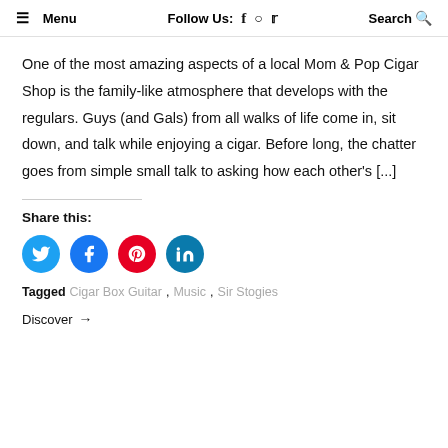≡ Menu   Follow Us:  f  ○  🐦   Search 🔍
One of the most amazing aspects of a local Mom & Pop Cigar Shop is the family-like atmosphere that develops with the regulars. Guys (and Gals) from all walks of life come in, sit down, and talk while enjoying a cigar. Before long, the chatter goes from simple small talk to asking how each other's [...]
Share this:
[Figure (infographic): Four social media share buttons: Twitter (blue), Facebook (blue), Pinterest (red), LinkedIn (teal)]
Tagged  Cigar Box Guitar ,  Music ,  Sir Stogies
Discover →